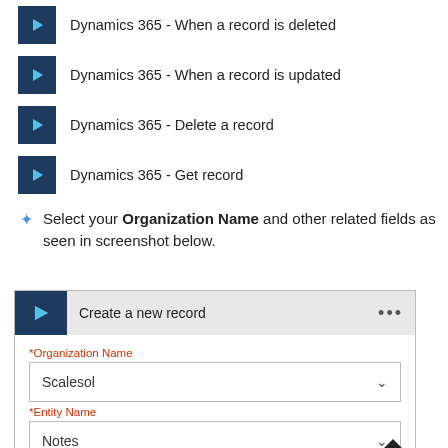Dynamics 365 - When a record is deleted
Dynamics 365 - When a record is updated
Dynamics 365 - Delete a record
Dynamics 365 - Get record
Select your Organization Name and other related fields as seen in screenshot below.
[Figure (screenshot): Screenshot of Microsoft Power Automate 'Create a new record' action form with Organization Name set to 'Scalesol', Entity Name set to 'Notes', and a Title field visible.]